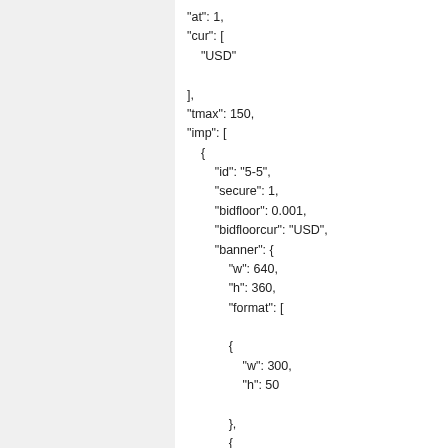"at": 1,
"cur": [
    "USD"
],
"tmax": 150,
"imp": [
    {
        "id": "5-5",
        "secure": 1,
        "bidfloor": 0.001,
        "bidfloorcur": "USD",
        "banner": {
            "w": 640,
            "h": 360,
            "format": [
            {
                "w": 300,
                "h": 50

            },
            {